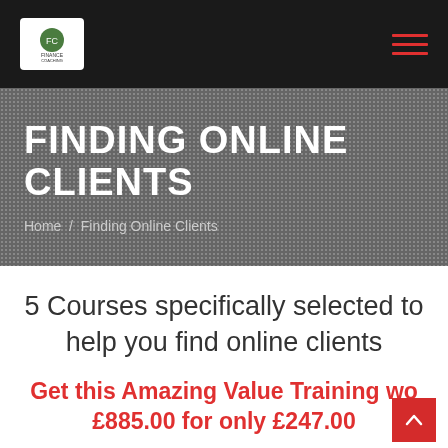Finance Coaching Review — Header navigation with logo and hamburger menu
FINDING ONLINE CLIENTS
Home / Finding Online Clients
5 Courses specifically selected to help you find online clients
Get this Amazing Value Training wo... £885.00 for only £247.00